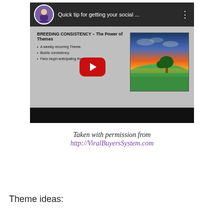[Figure (screenshot): A YouTube video screenshot showing a presentation slide titled 'BREEDING CONSISTENCY – The Power of Themes' with bullet points: 'A weekly recurring Theme.', 'Builds consistency.', 'Fans begin anticipating them.' On the right is a landscape image showing a green hill with a lone tree against a colorful sunset sky. A large red YouTube play button is overlaid in the center. The top bar shows a circular avatar of a woman and the title 'Quick tip for getting your social ...' with a three-dot menu icon.]
Taken with permission from http://ViralBuyersSystem.com
Theme ideas: